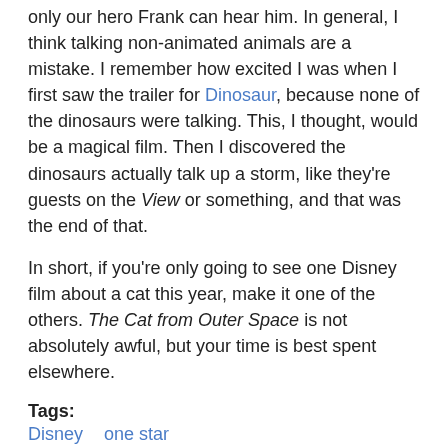only our hero Frank can hear him. In general, I think talking non-animated animals are a mistake. I remember how excited I was when I first saw the trailer for Dinosaur, because none of the dinosaurs were talking. This, I thought, would be a magical film. Then I discovered the dinosaurs actually talk up a storm, like they're guests on the View or something, and that was the end of that.
In short, if you're only going to see one Disney film about a cat this year, make it one of the others. The Cat from Outer Space is not absolutely awful, but your time is best spent elsewhere.
Tags:
Disney  one star
Story_types:
sgblog
[Figure (other): Share / Save button with Facebook, Twitter, and share icons]